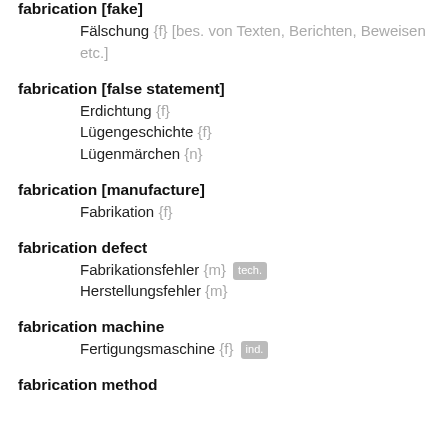fabrication [fake]
Fälschung {f} [bes. von Texten, Berichten, Beweisen etc.]
fabrication [false statement]
Erdichtung {f}
Lügengeschichte {f}
Lügenmärchen {n}
fabrication [manufacture]
Fabrikation {f}
fabrication defect
Fabrikationsfehler {m} tech.
Herstellungsfehler {m}
fabrication machine
Fertigungsmaschine {f} ind.
fabrication method